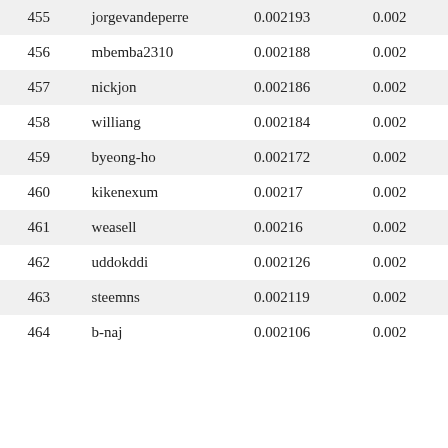| 455 | jorgevandeperre | 0.002193 | 0.002 |
| 456 | mbemba2310 | 0.002188 | 0.002 |
| 457 | nickjon | 0.002186 | 0.002 |
| 458 | williang | 0.002184 | 0.002 |
| 459 | byeong-ho | 0.002172 | 0.002 |
| 460 | kikenexum | 0.00217 | 0.002 |
| 461 | weasell | 0.00216 | 0.002 |
| 462 | uddokddi | 0.002126 | 0.002 |
| 463 | steemns | 0.002119 | 0.002 |
| 464 | b-naj | 0.002106 | 0.002 |